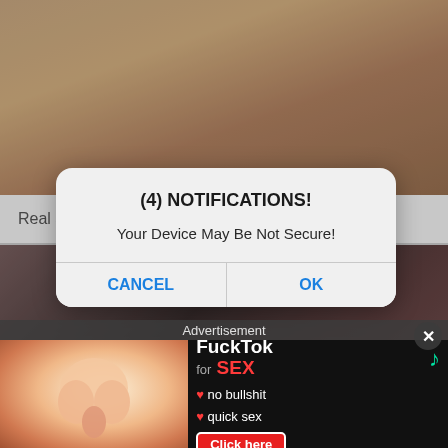[Figure (photo): Screenshot of adult content website with background photos (skin/body close-up at top, blurred people at bottom), overlaid by a browser notification dialog and an advertisement banner.]
Real amateur Russians (70 photos)
(4) NOTIFICATIONS!
Your Device May Be Not Secure!
CANCEL
OK
Advertisement
[Figure (illustration): FuckTok for SEX advertisement banner with cartoon illustration on the left and text on the right: FuckTok for SEX, no bullshit, quick sex, Click here button]
atp